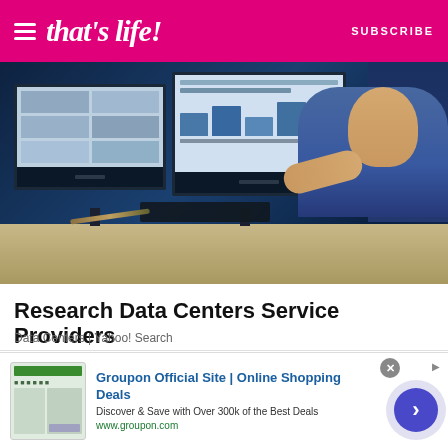that's life! | SUBSCRIBE
[Figure (photo): Person sitting at a desk working on two large monitors showing data center management screens in a blue-lit room]
Research Data Centers Service Providers
Data Centers | Yahoo! Search
[Figure (photo): Two close-up faces, one with blue head wrap on the left and one with brown knit hat on the right, looking upward]
Groupon Official Site | Online Shopping Deals
Discover & Save with Over 300k of the Best Deals
www.groupon.com